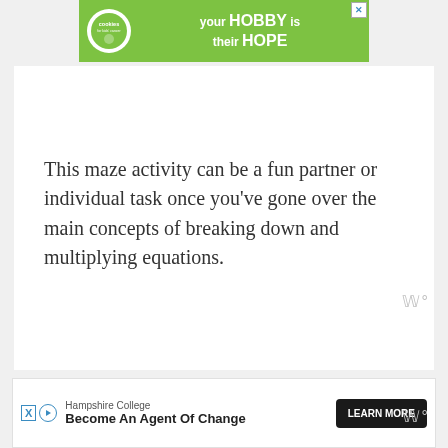[Figure (other): Green advertisement banner for Cookies for Kids' Cancer charity with text 'your HOBBY is their HOPE' and a close button]
This maze activity can be a fun partner or individual task once you've gone over the main concepts of breaking down and multiplying equations.
Learn more: Tes
[Figure (other): Bottom advertisement banner for Hampshire College with text 'Become An Agent Of Change' and a 'LEARN MORE' button]